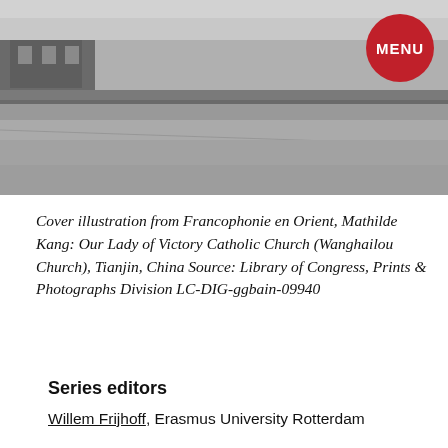[Figure (photo): Black and white photograph of a building exterior, possibly a church or institutional building, with a courtyard or open ground area in the foreground.]
Cover illustration from Francophonie en Orient, Mathilde Kang: Our Lady of Victory Catholic Church (Wanghailou Church), Tianjin, China Source: Library of Congress, Prints & Photographs Division LC-DIG-ggbain-09940
Series editors
Willem Frijhoff, Erasmus University Rotterdam